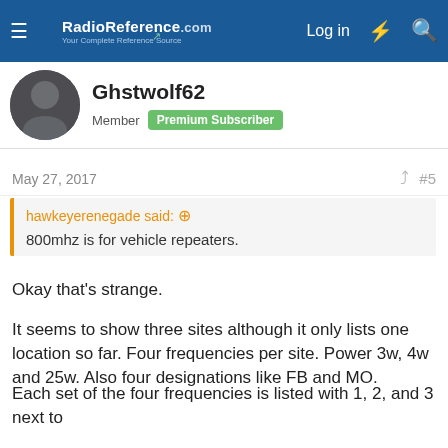RadioReference.com — Log in
Ghstwolf62
Member  Premium Subscriber
May 27, 2017  #5
hawkeyerenegade said: ↑
800mhz is for vehicle repeaters.
Okay that's strange.
It seems to show three sites although it only lists one location so far. Four frequencies per site. Power 3w, 4w and 25w. Also four designations like FB and MO.
Each set of the four frequencies is listed with 1, 2, and 3 next to them which would seem to indicate 3 sites.
The listed site is in Buena Vista. Nothing other than